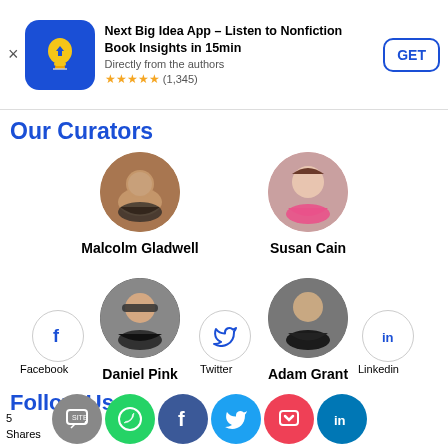[Figure (screenshot): App store ad banner for Next Big Idea App with logo, title, subtitle, star rating, and GET button]
Our Curators
[Figure (photo): Circular photo of Malcolm Gladwell]
Malcolm Gladwell
[Figure (photo): Circular photo of Susan Cain]
Susan Cain
[Figure (photo): Circular photo of Daniel Pink]
Daniel Pink
[Figure (photo): Circular photo of Adam Grant]
Adam Grant
Follow Us
[Figure (logo): Facebook circle icon]
Facebook
[Figure (logo): Twitter circle icon]
Twitter
[Figure (logo): LinkedIn circle icon]
Linkedin
5 Shares